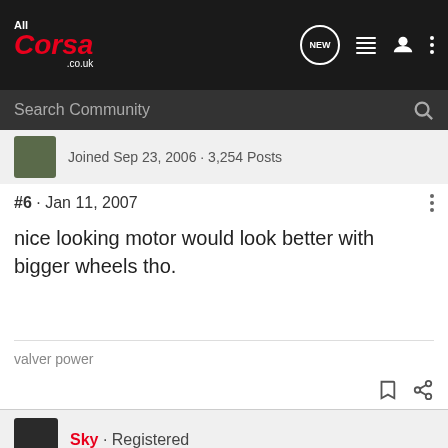[Figure (logo): AllCorsa.co.uk logo in red italic on dark background]
Search Community
Joined Sep 23, 2006 · 3,254 Posts
#6 · Jan 11, 2007
nice looking motor would look better with bigger wheels tho.
valver power
Sky · Registered